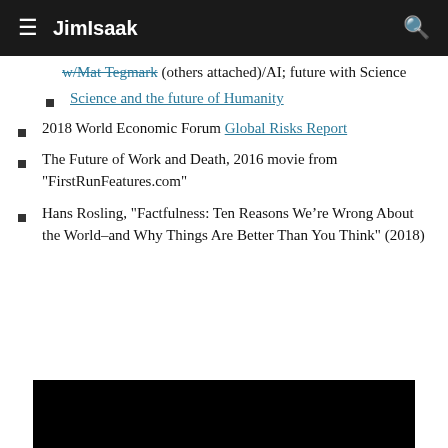JimIsaak
w/[link](others attached)/AI; future with Science
Science and the future of Humanity
2018 World Economic Forum Global Risks Report
The Future of Work and Death, 2016 movie from "FirstRunFeatures.com"
Hans Rosling, "Factfulness: Ten Reasons We’re Wrong About the World–and Why Things Are Better Than You Think" (2018)
[Figure (other): Black video embed placeholder at bottom of page]